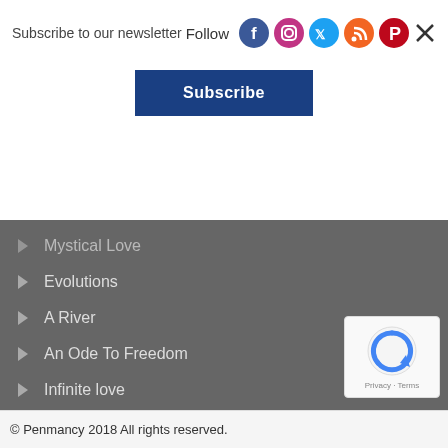Subscribe to our newsletter
Follow
[Figure (other): Social media icons: Facebook, Instagram, Twitter, RSS, Pinterest, and close (X) button]
Subscribe
Mystical Love
Evolutions
A River
An Ode To Freedom
Infinite love
[Figure (other): Google reCAPTCHA badge with privacy and terms text]
© Penmancy 2018 All rights reserved.